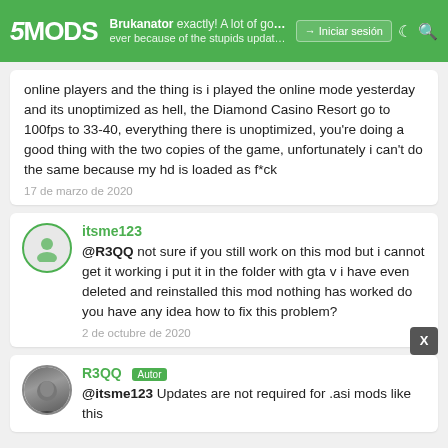5MODS | Brukanator | exactly! A lot of good mods are lost ever because of the stupids updates and dlcs for | Iniciar sesión
online players and the thing is i played the online mode yesterday and its unoptimized as hell, the Diamond Casino Resort go to 100fps to 33-40, everything there is unoptimized, you're doing a good thing with the two copies of the game, unfortunately i can't do the same because my hd is loaded as f*ck
17 de marzo de 2020
itsme123
@R3QQ not sure if you still work on this mod but i cannot get it working i put it in the folder with gta v i have even deleted and reinstalled this mod nothing has worked do you have any idea how to fix this problem?
2 de octubre de 2020
R3QQ Autor
@itsme123 Updates are not required for .asi mods like this